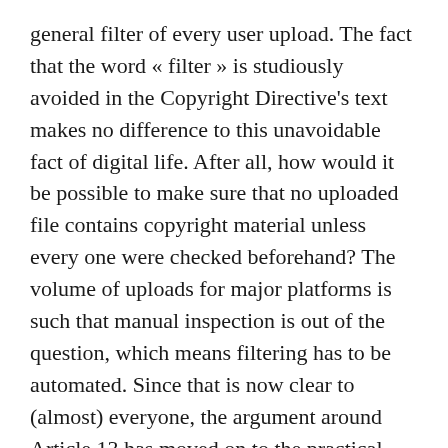general filter of every user upload. The fact that the word « filter » is studiously avoided in the Copyright Directive's text makes no difference to this unavoidable fact of digital life. After all, how would it be possible to make sure that no uploaded file contains copyright material unless every one were checked beforehand? The volume of uploads for major platforms is such that manual inspection is out of the question, which means filtering has to be automated. Since that is now clear to (almost) everyone, the argument around Article 13 has moved on to the practical implications of requiring top sites to install censorship machines for user-uploaded content.
One class of material particularly at risk involves memes. These are often topical ideas that take pre-existing texts, music, images, and videos, and use them